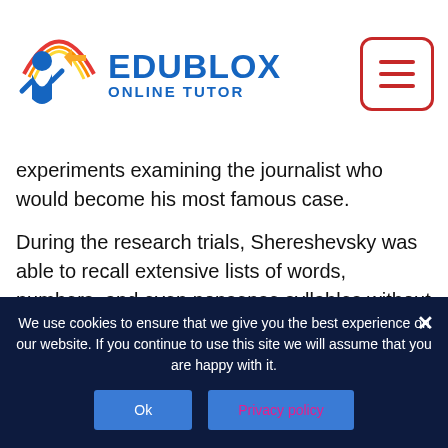Edublox Online Tutor
experiments examining the journalist who would become his most famous case.
During the research trials, Shereshevsky was able to recall extensive lists of words, numbers, and even nonsense syllables without mistakes and with only occasional hesitation. He could also report the numbers or letters in reverse order. Not only this, he remembered them years afterward, as well as the clothes Luria had worn on the day he had first learned them!
We use cookies to ensure that we give you the best experience on our website. If you continue to use this site we will assume that you are happy with it.